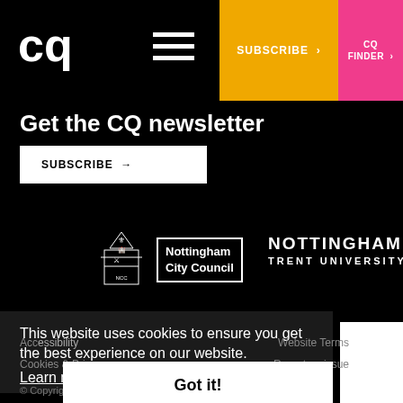CQ | SUBSCRIBE > | CQ FINDER >
Get the CQ newsletter
SUBSCRIBE →
[Figure (logo): Nottingham City Council logo with crest and text]
[Figure (logo): Nottingham Trent University logo]
This website uses cookies to ensure you get the best experience on our website. Learn more
Accessibility  Website Terms  Cookies & Privacy  Report an issue
Got it!
© Copyright Creative Quarter Nottingham. All rights reserved.